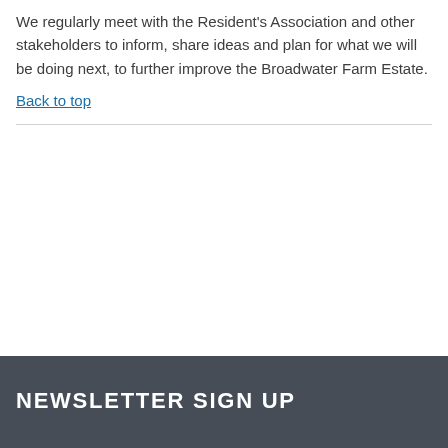We regularly meet with the Resident's Association and other stakeholders to inform, share ideas and plan for what we will be doing next, to further improve the Broadwater Farm Estate.
Back to top
NEWSLETTER SIGN UP